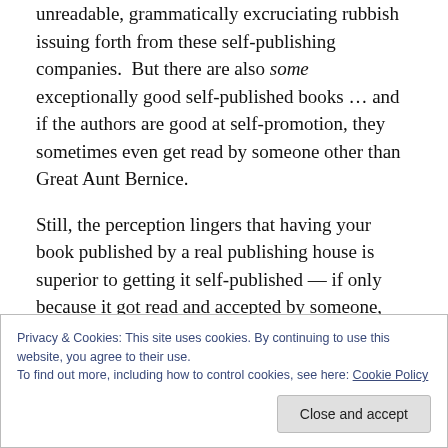unreadable, grammatically excruciating rubbish issuing forth from these self-publishing companies.  But there are also some exceptionally good self-published books … and if the authors are good at self-promotion, they sometimes even get read by someone other than Great Aunt Bernice.
Still, the perception lingers that having your book published by a real publishing house is superior to getting it self-published — if only because it got read and accepted by someone, after which it was edited and fact-checked, and the company invested some small amount in
Privacy & Cookies: This site uses cookies. By continuing to use this website, you agree to their use.
To find out more, including how to control cookies, see here: Cookie Policy